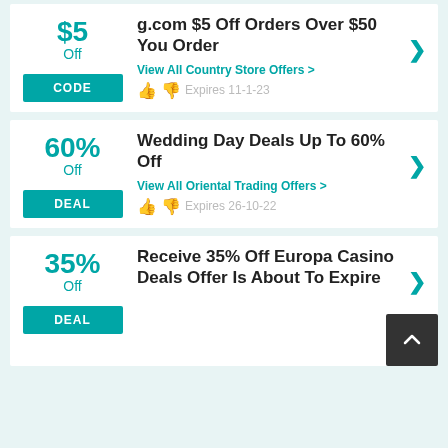$5 Off — CODE — g.com $5 Off Orders Over $50 You Order — View All Country Store Offers > — Expires 11-1-23
60% Off — DEAL — Wedding Day Deals Up To 60% Off — View All Oriental Trading Offers > — Expires 26-10-22
35% Off — DEAL — Receive 35% Off Europa Casino Deals Offer Is About To Expire